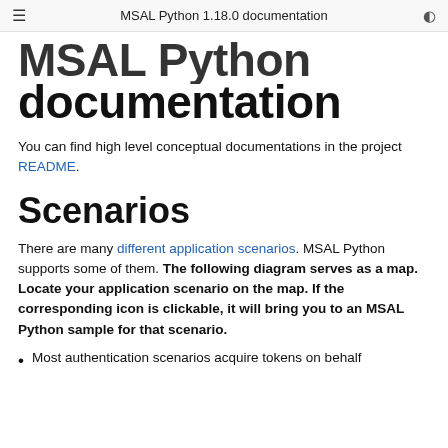MSAL Python 1.18.0 documentation
MSAL Python documentation
You can find high level conceptual documentations in the project README.
Scenarios
There are many different application scenarios. MSAL Python supports some of them. The following diagram serves as a map. Locate your application scenario on the map. If the corresponding icon is clickable, it will bring you to an MSAL Python sample for that scenario.
Most authentication scenarios acquire tokens on behalf